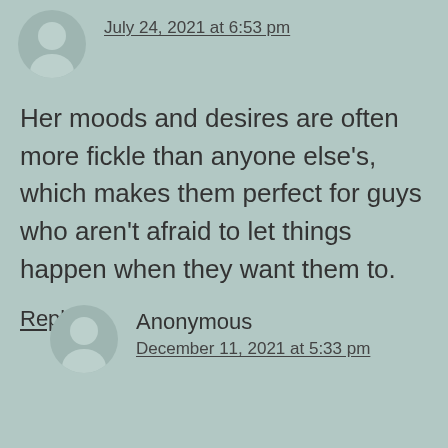July 24, 2021 at 6:53 pm
Her moods and desires are often more fickle than anyone else's, which makes them perfect for guys who aren't afraid to let things happen when they want them to.
Reply
Anonymous
December 11, 2021 at 5:33 pm